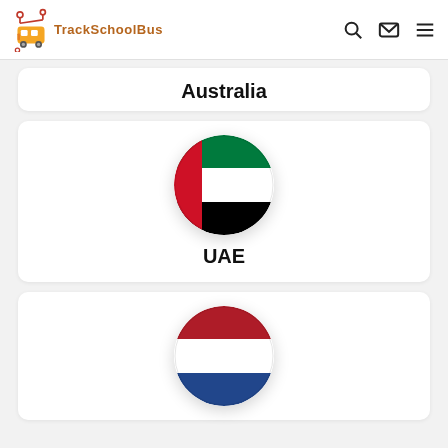TrackSchoolBus
Australia
[Figure (illustration): UAE flag circle icon]
UAE
[Figure (illustration): Netherlands flag circle icon]